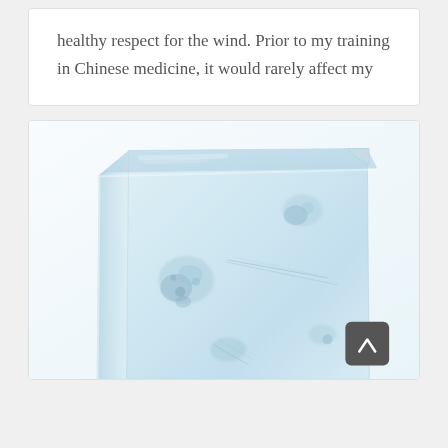healthy respect for the wind. Prior to my training in Chinese medicine, it would rarely affect my
[Figure (photo): Close-up photograph of a large block of clear ice with internal bubbles, cracks, and crystalline formations visible. The ice block appears translucent with a light blue tint against a white background. A dark gray rounded-rectangle scroll-to-top button with a chevron/caret icon is overlaid in the bottom-right corner of the image.]